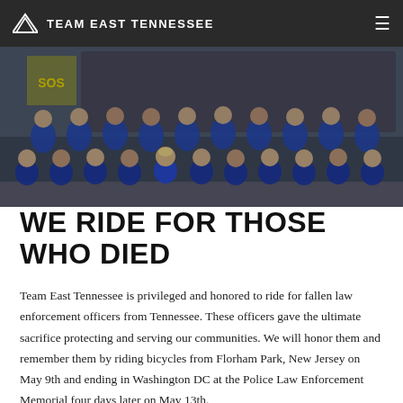TEAM EAST TENNESSEE
[Figure (photo): Group photo of Team East Tennessee members wearing blue cycling jerseys, posed in two rows in front of a bus with an SOS sign visible. Approximately 30 people total, some standing and some kneeling.]
WE RIDE FOR THOSE WHO DIED
Team East Tennessee is privileged and honored to ride for fallen law enforcement officers from Tennessee. These officers gave the ultimate sacrifice protecting and serving our communities. We will honor them and remember them by riding bicycles from Florham Park, New Jersey on May 9th and ending in Washington DC at the Police Law Enforcement Memorial four days later on May 13th.